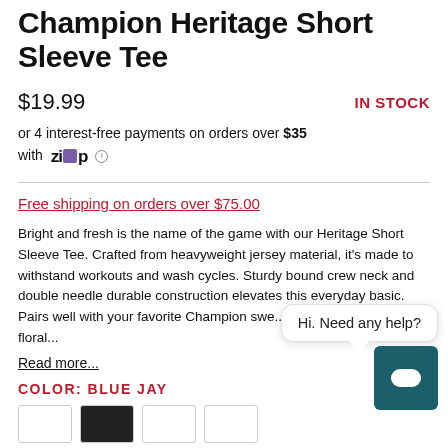Champion Heritage Short Sleeve Tee
$19.99   IN STOCK
or 4 interest-free payments on orders over $35 with Zip
Free shipping on orders over $75.00
Bright and fresh is the name of the game with our Heritage Short Sleeve Tee. Crafted from heavyweight jersey material, it's made to withstand workouts and wash cycles. Sturdy bound crew neck and double needle durable construction elevates this everyday basic. Pairs well with your favorite Champion swe... hoodies. Finished with floral...
Read more...
COLOR: BLUE JAY